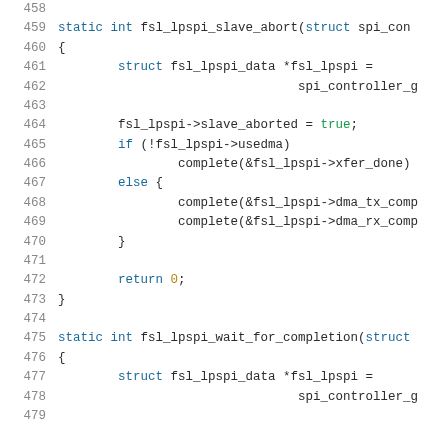[Figure (screenshot): Source code listing showing C functions fsl_lpspi_slave_abort and fsl_lpspi_wait_for_completion with line numbers 458-479]